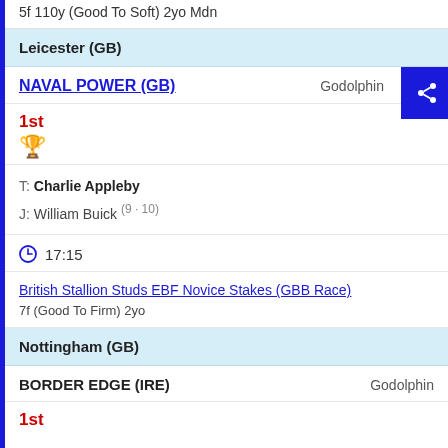5f 110y (Good To Soft) 2yo Mdn
Leicester (GB)
NAVAL POWER (GB) — Godolphin
1st
T: Charlie Appleby
J: William Buick (9-10)
17:15
British Stallion Studs EBF Novice Stakes (GBB Race)
7f (Good To Firm) 2yo
Nottingham (GB)
BORDER EDGE (IRE) — Godolphin
1st